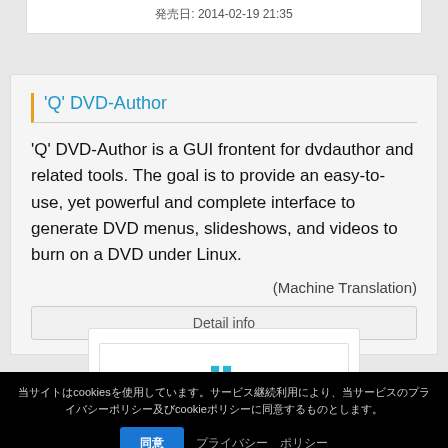発売日: 2014-02-19 21:35
'Q' DVD-Author
'Q' DVD-Author is a GUI frontent for dvdauthor and related tools. The goal is to provide an easy-to-use, yet powerful and complete interface to generate DVD menus, slideshows, and videos to burn on a DVD under Linux.
(Machine Translation)
Detail info
当サイトはcookiesを使用しています。サービス継続利用により、当サービスのプライバシーポリシー及びcookieポリシーに同意するものとします。
同意 プライバシー ポリシー